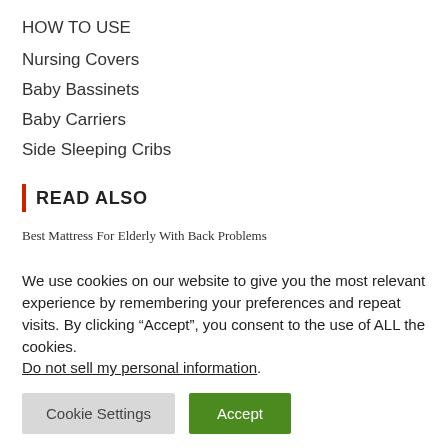HOW TO USE
Nursing Covers
Baby Bassinets
Baby Carriers
Side Sleeping Cribs
READ ALSO
Best Mattress For Elderly With Back Problems
We use cookies on our website to give you the most relevant experience by remembering your preferences and repeat visits. By clicking “Accept”, you consent to the use of ALL the cookies. Do not sell my personal information.